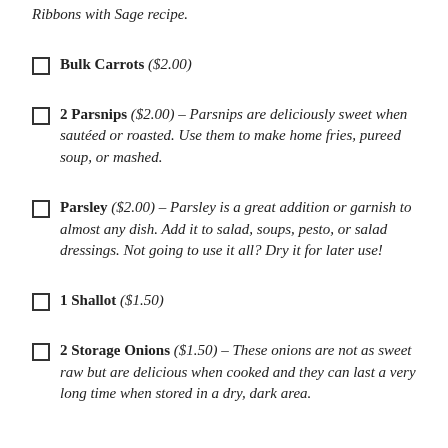Ribbons with Sage recipe.
□ Bulk Carrots ($2.00)
□ 2 Parsnips ($2.00) – Parsnips are deliciously sweet when sautéed or roasted. Use them to make home fries, pureed soup, or mashed.
□ Parsley ($2.00) – Parsley is a great addition or garnish to almost any dish. Add it to salad, soups, pesto, or salad dressings. Not going to use it all? Dry it for later use!
□ 1 Shallot ($1.50)
□ 2 Storage Onions ($1.50) – These onions are not as sweet raw but are delicious when cooked and they can last a very long time when stored in a dry, dark area.